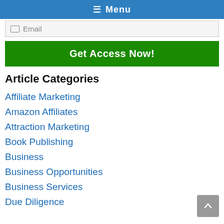☰ Menu
Email
Get Access Now!
Article Categories
Affiliate Marketing
Amazon Affiliates
Attraction Marketing
Book Publishing
Business
Business Opportunities
Business Services
Due Diligence